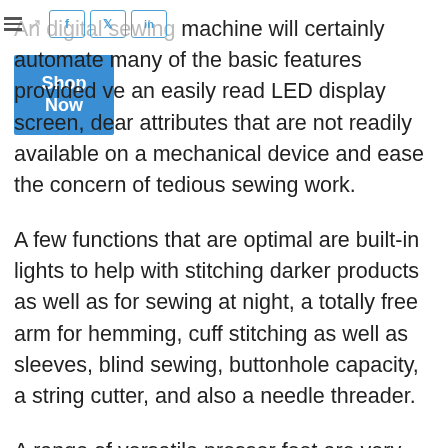An digital sewing machine will certainly automate many of the basic features provided ve an easily read LED display screen, dear attributes that are not readily available on a mechanical device and ease the concern of tedious sewing work.
A few functions that are optimal are built-in lights to help with stitching darker products as well as for sewing at night, a totally free arm for hemming, cuff stitching as well as sleeves, blind sewing, buttonhole capacity, a string cutter, and also a needle threader.
A range of versatile presser feet are very useful